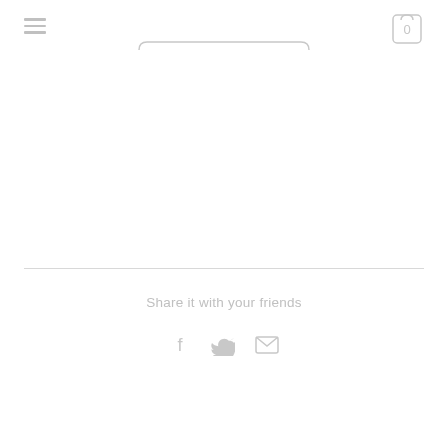[Figure (screenshot): Hamburger menu icon (three horizontal lines) in top left corner]
[Figure (screenshot): Shopping cart icon with '0' badge in top right corner]
[Figure (screenshot): Rounded search/button bar partially visible at top center]
Share it with your friends
[Figure (infographic): Social sharing icons: Facebook (f), Twitter bird, and Email/envelope icons in light gray]